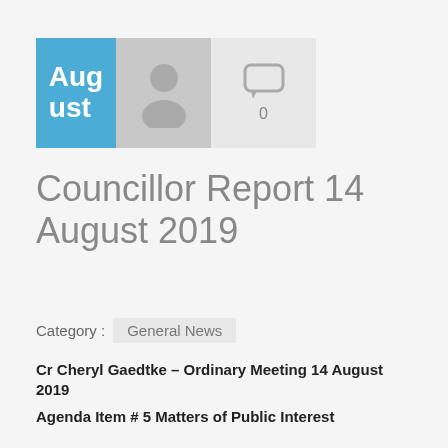[Figure (other): Blue box with text 'August', grey avatar silhouette box, and grey comment bubble icon with count 0]
Councillor Report 14 August 2019
Category :  General News
Cr Cheryl Gaedtke – Ordinary Meeting 14 August 2019
Agenda Item # 5 Matters of Public Interest